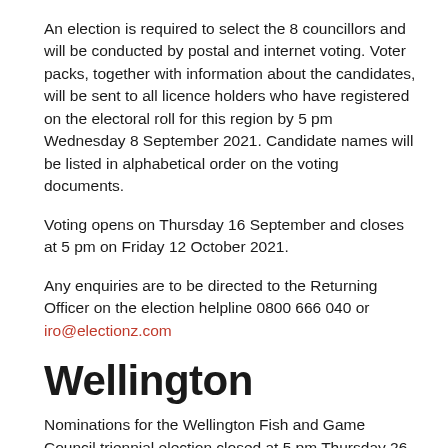An election is required to select the 8 councillors and will be conducted by postal and internet voting. Voter packs, together with information about the candidates, will be sent to all licence holders who have registered on the electoral roll for this region by 5 pm Wednesday 8 September 2021. Candidate names will be listed in alphabetical order on the voting documents.
Voting opens on Thursday 16 September and closes at 5 pm on Friday 12 October 2021.
Any enquiries are to be directed to the Returning Officer on the election helpline 0800 666 040 or iro@electionz.com
Wellington
Nominations for the Wellington Fish and Game Council triennial election closed at 5 pm Thursday 26 August 2021.
15 nominations were received for the 12 positions on the Council. The candidates in alphabetical order are: